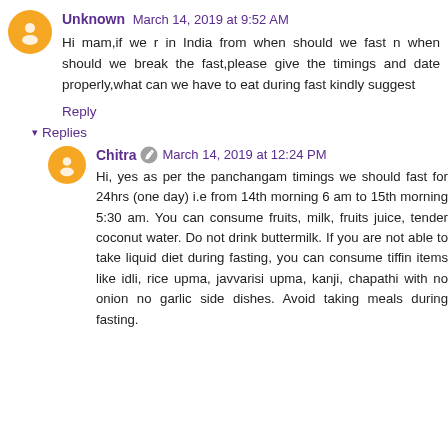Unknown March 14, 2019 at 9:52 AM
Hi mam,if we r in India from when should we fast n when should we break the fast,please give the timings and date properly,what can we have to eat during fast kindly suggest
Reply
Replies
Chitra March 14, 2019 at 12:24 PM
Hi, yes as per the panchangam timings we should fast for 24hrs (one day) i.e from 14th morning 6 am to 15th morning 5:30 am. You can consume fruits, milk, fruits juice, tender coconut water. Do not drink buttermilk. If you are not able to take liquid diet during fasting, you can consume tiffin items like idli, rice upma, javvarisi upma, kanji, chapathi with no onion no garlic side dishes. Avoid taking meals during fasting.